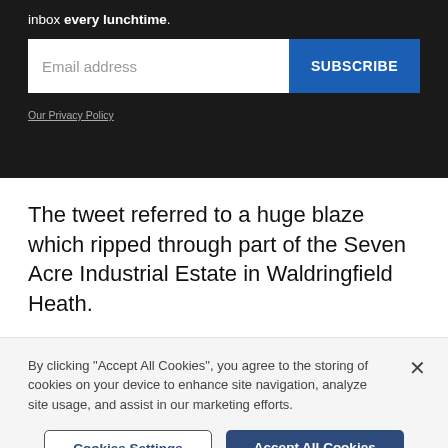inbox every lunchtime.
[Figure (screenshot): Email subscription form with email address input field and blue SUBSCRIBE button]
Our Privacy Policy
The tweet referred to a huge blaze which ripped through part of the Seven Acre Industrial Estate in Waldringfield Heath.
By clicking "Accept All Cookies", you agree to the storing of cookies on your device to enhance site navigation, analyze site usage, and assist in our marketing efforts.
Cookies Settings
Accept All Cookies